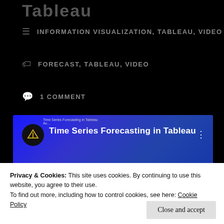Tableau
INFORMATION VISUALIZATION, TABLEAU, VIDEO
FORECAST, TABLEAU, VIDEO
1 COMMENT
[Figure (screenshot): YouTube video thumbnail for 'Time Series Forecasting in Tableau' showing a channel logo, title text, and a line/area chart visualization on a blue gradient background]
Privacy & Cookies: This site uses cookies. By continuing to use this website, you agree to their use.
To find out more, including how to control cookies, see here: Cookie Policy
Close and accept